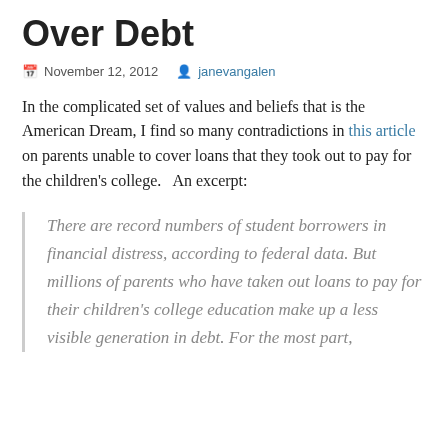Over Debt
November 12, 2012   janevangalen
In the complicated set of values and beliefs that is the American Dream, I find so many contradictions in this article on parents unable to cover loans that they took out to pay for the children's college.   An excerpt:
There are record numbers of student borrowers in financial distress, according to federal data. But millions of parents who have taken out loans to pay for their children's college education make up a less visible generation in debt. For the most part,